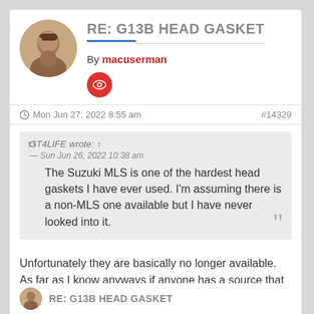RE: G13B HEAD GASKET
By macuserman
- Mon Jun 27, 2022 8:55 am   #14329
GT4LIFE wrote: ↑
— Sun Jun 26, 2022 10:38 am
The Suzuki MLS is one of the hardest head gaskets I have ever used. I'm assuming there is a non-MLS one available but I have never looked into it.
Unfortunately they are basically no longer available. As far as I know anyways if anyone has a source that would be news to me. I do have a couple spares in my stash, but I don't think any are being made still.
RE: G13B HEAD GASKET